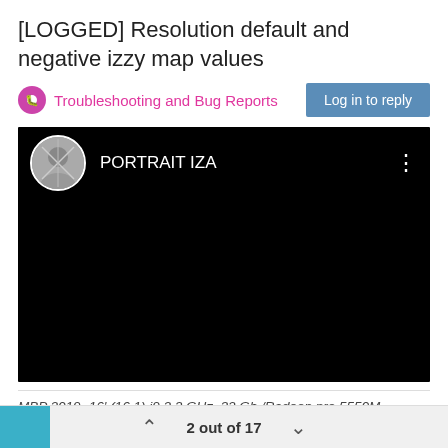[LOGGED] Resolution default and negative izzy map values
Troubleshooting and Bug Reports
[Figure (screenshot): Dark/black video player with 'PORTRAIT IZA' channel name and avatar at top, three-dot menu icon on right]
MBP 2019- 16' (16,1) i9 2,3 GHz, 32 Gb /Radeon pro 5550M 8GBram/ OSX 10.15.3
2 out of 17